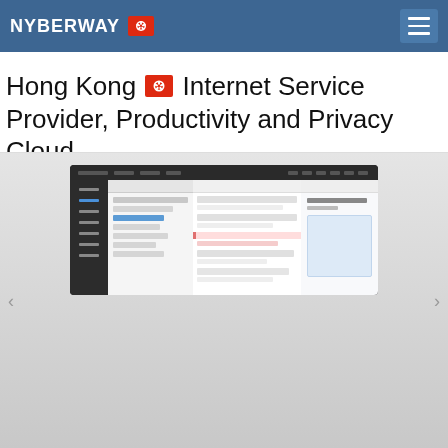NYBERWAY
Hong Kong 🇭🇰 Internet Service Provider, Productivity and Privacy Cloud
[Figure (screenshot): Screenshot of a web-based email or productivity application UI, showing a dark sidebar, folder/label panel, email list panel, and email reading pane with a light blue content area.]